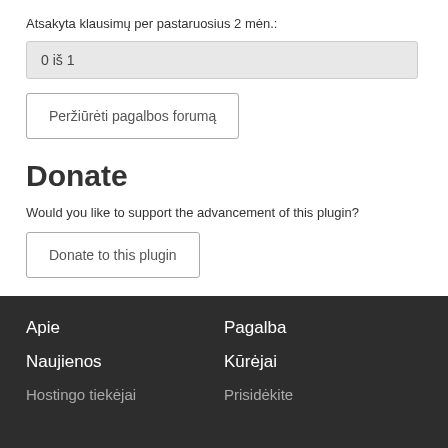Atsakyta klausimų per pastaruosius 2 mėn.:
0 iš 1
Peržiūrėti pagalbos forumą
Donate
Would you like to support the advancement of this plugin?
Donate to this plugin
Apie | Pagalba | Naujienos | Kūrėjai | Hostingo tiekėjai | Prisidėkite